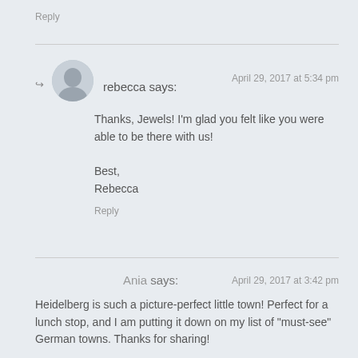Reply
rebecca says:
April 29, 2017 at 5:34 pm
Thanks, Jewels! I'm glad you felt like you were able to be there with us!

Best,
Rebecca
Reply
Ania says:
April 29, 2017 at 3:42 pm
Heidelberg is such a picture-perfect little town! Perfect for a lunch stop, and I am putting it down on my list of "must-see" German towns. Thanks for sharing!